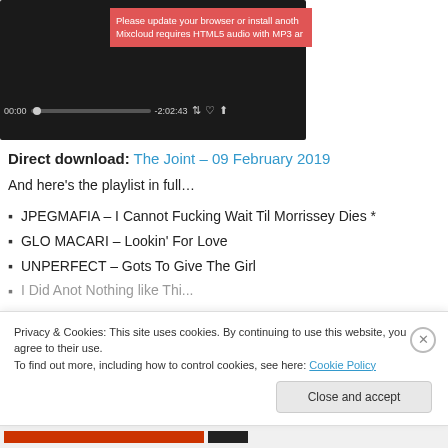[Figure (screenshot): Mixcloud audio player embedded in a webpage, showing a dark player UI with red error banner reading 'Please update your browser or install anoth...' and 'Mixcloud requires HTML5 audio with MP3 ar', and playback controls showing 00:00 and -2:02:43]
Direct download: The Joint – 09 February 2019
And here's the playlist in full…
JPEGMAFIA – I Cannot Fucking Wait Til Morrissey Dies *
GLO MACARI – Lookin' For Love
UNPERFECT – Gots To Give The Girl
Privacy & Cookies: This site uses cookies. By continuing to use this website, you agree to their use.
To find out more, including how to control cookies, see here: Cookie Policy